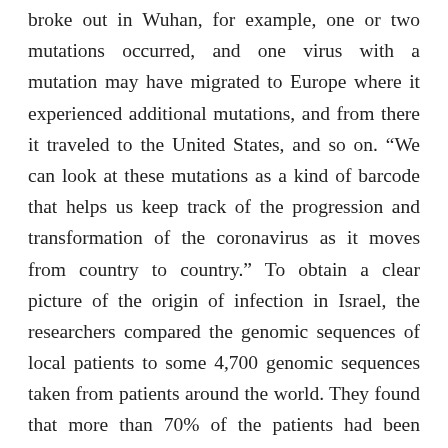broke out in Wuhan, for example, one or two mutations occurred, and one virus with a mutation may have migrated to Europe where it experienced additional mutations, and from there it traveled to the United States, and so on. “We can look at these mutations as a kind of barcode that helps us keep track of the progression and transformation of the coronavirus as it moves from country to country.” To obtain a clear picture of the origin of infection in Israel, the researchers compared the genomic sequences of local patients to some 4,700 genomic sequences taken from patients around the world. They found that more than 70% of the patients had been infected by a coronavirus strain that originated in the U.S. The remaining nearly 30% of infections were imported from Europe and elsewhere: Belgium (8%), France (6%), England (5%), Spain (3%), Italy (2%), the Philippines (2%), Australia (2%) and Russia (2%). According to Dr. Stern,